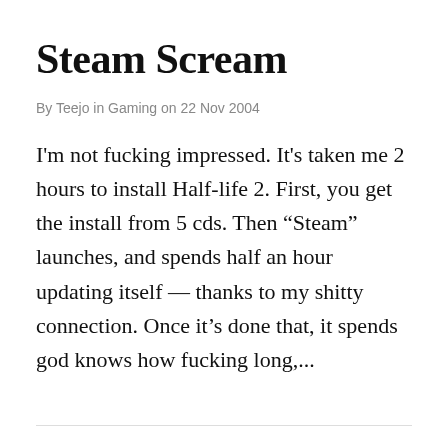Steam Scream
By Teejo in Gaming on 22 Nov 2004
I'm not fucking impressed. It's taken me 2 hours to install Half-life 2. First, you get the install from 5 cds. Then “Steam” launches, and spends half an hour updating itself — thanks to my shitty connection. Once it’s done that, it spends god knows how fucking long,...